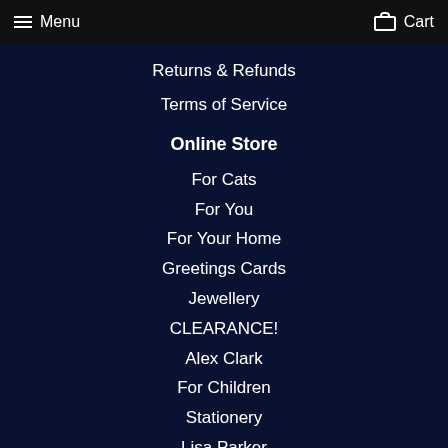Menu   Cart
Returns & Refunds
Terms of Service
Online Store
For Cats
For You
For Your Home
Greetings Cards
Jewellery
CLEARANCE!
Alex Clark
For Children
Stationery
Lisa Parker
Crafty Corner
Gift Vouchers